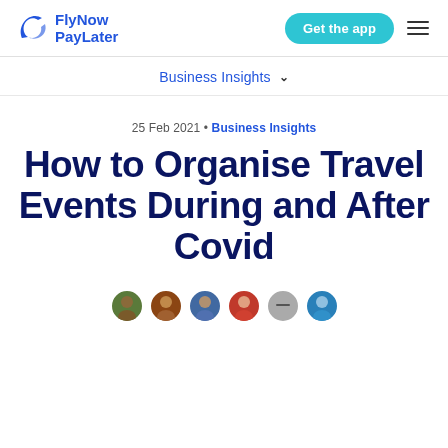FlyNow PayLater | Get the app
Business Insights
25 Feb 2021 • Business Insights
How to Organise Travel Events During and After Covid
[Figure (photo): Row of author avatar portraits at the bottom of the article header]